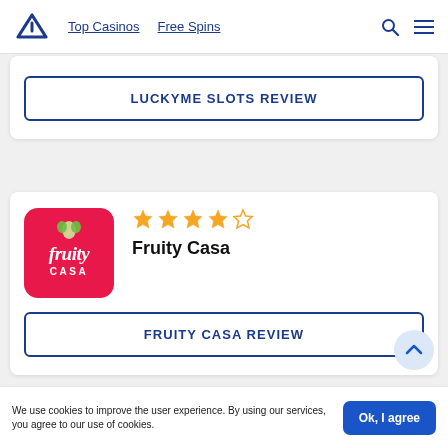Top Casinos | Free Spins
LUCKYME SLOTS REVIEW
[Figure (logo): Fruity Casa casino logo - pink/red rounded square with white script text 'fruity CASA' and green leaf decoration]
[Figure (infographic): 4 out of 5 star rating for Fruity Casa]
Fruity Casa
FRUITY CASA REVIEW
We use cookies to improve the user experience. By using our services, you agree to our use of cookies.